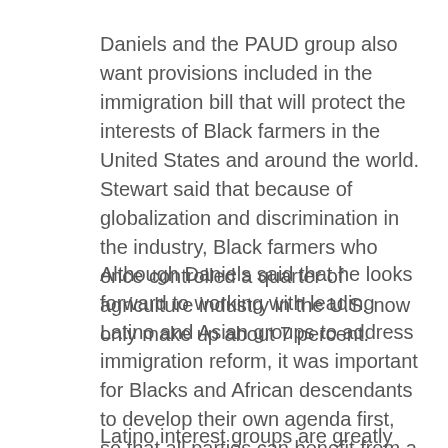Daniels and the PAUD group also want provisions included in the immigration bill that will protect the interests of Black farmers in the United States and around the world. Stewart said that because of globalization and discrimination in the industry, Black farmers who once controlled a quarter of agriculture industry in the U.S. now only make up about 7 percent.
Although Daniels said that he looks forward to working with leading Latino and Asian groups to address immigration reform, it was important for Blacks and African descendants to develop their own agenda first, so that all parties can benefit from a future coalition.
Latino interest groups are greatly concerned with